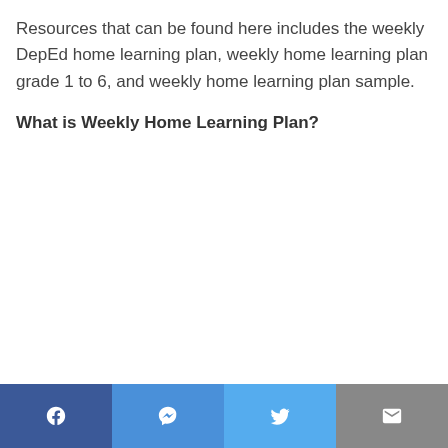Resources that can be found here includes the weekly DepEd home learning plan, weekly home learning plan grade 1 to 6, and weekly home learning plan sample.
What is Weekly Home Learning Plan?
[Figure (other): Social sharing bar with four buttons: Facebook (dark blue), Messenger (blue), Twitter (light blue), Email/Mail (grey)]